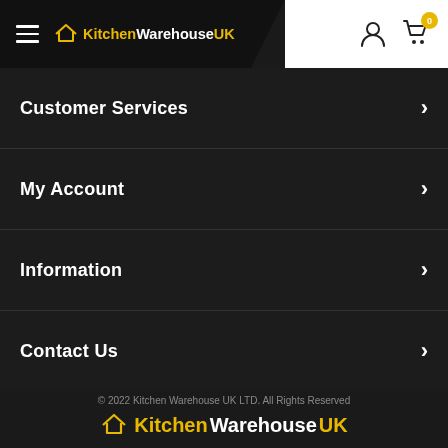KitchenWarehouseUK — Navigation menu with hamburger icon, user icon, cart icon with badge 0
Customer Services
My Account
Information
Contact Us
© 2022 Kitchen Warehouse UK LTD. All Rights Reserved
[Figure (logo): KitchenWarehouseUK logo with house icon, Kitchen and UK in yellow, Warehouse in white]